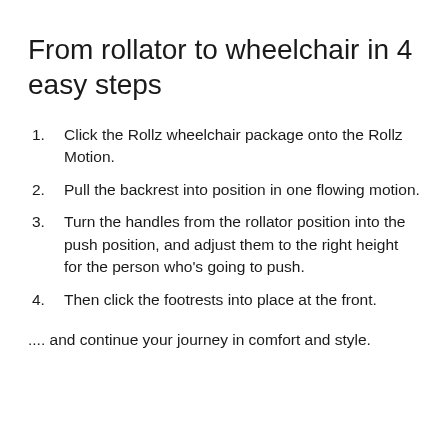From rollator to wheelchair in 4 easy steps
Click the Rollz wheelchair package onto the Rollz Motion.
Pull the backrest into position in one flowing motion.
Turn the handles from the rollator position into the push position, and adjust them to the right height for the person who's going to push.
Then click the footrests into place at the front.
.... and continue your journey in comfort and style.